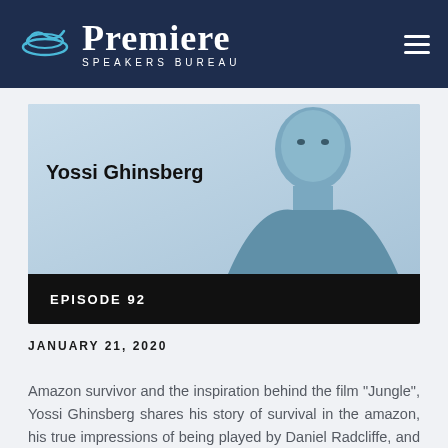Premiere Speakers Bureau
[Figure (photo): Blue-tinted photo of Yossi Ghinsberg, a bald man in a grey shirt, on a light blue background. His name 'Yossi Ghinsberg' appears in bold on the left. A black bar at the bottom reads 'EPISODE 92'.]
JANUARY 21, 2020
Amazon survivor and the inspiration behind the film "Jungle", Yossi Ghinsberg shares his story of survival in the amazon, his true impressions of being played by Daniel Radcliffe, and what he discovered about the true meaning of life.